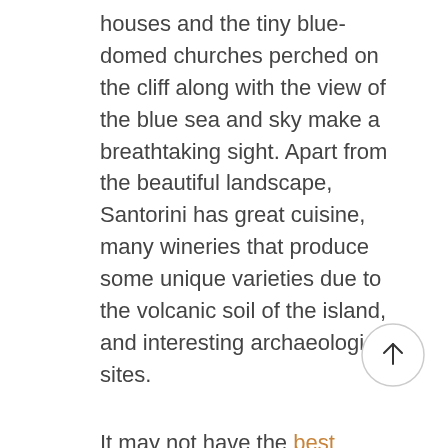houses and the tiny blue- domed churches perched on the cliff along with the view of the blue sea and sky make a breathtaking sight. Apart from the beautiful landscape, Santorini has great cuisine, many wineries that produce some unique varieties due to the volcanic soil of the island, and interesting archaeological sites.
It may not have the best beaches compared to other Greek islands (like the beaches in Mykonos) but its beaches are different because of the volcano and have crystal clear waters. Apart from the villages on the caldera, there are some other pretty villages on the island like Pyrgos and Emporio, with unique architecture, a maze of cobbled alleyways and blossomed bougainvilleas. Even the
[Figure (other): A circular scroll-to-top button with an upward-pointing arrow, positioned at the bottom right of the page.]